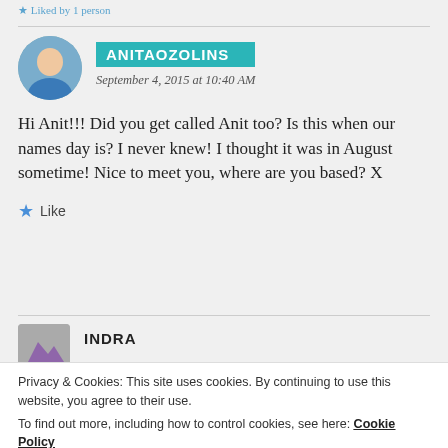Liked by 1 person
ANITAOZOLINS
September 4, 2015 at 10:40 AM
Hi Anit!!! Did you get called Anit too? Is this when our names day is? I never knew! I thought it was in August sometime! Nice to meet you, where are you based? X
Like
INDRA
Privacy & Cookies: This site uses cookies. By continuing to use this website, you agree to their use.
To find out more, including how to control cookies, see here: Cookie Policy
Close and accept
was taught some of the traditions. I have the rings, the